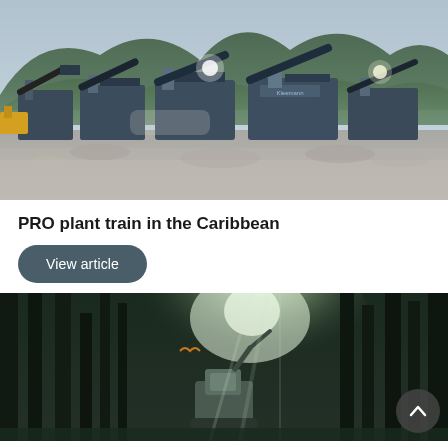[Figure (photo): Outdoor quarry or mining site with multiple blue heavy crushing/screening machines and conveyor belts arranged in a row. Green forested hills and hazy sky in the background. Gravel/aggregate on the ground.]
PRO plant train in the Caribbean
View article
[Figure (photo): Forest scene with tall dark trees and bright light coming through. A heavy machine or forestry vehicle visible in the center background.]